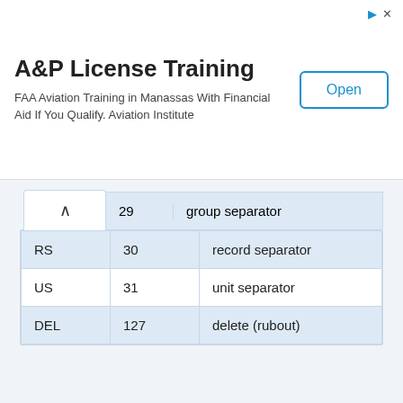[Figure (other): Advertisement banner for A&P License Training. Title: 'A&P License Training'. Subtitle: 'FAA Aviation Training in Manassas With Financial Aid If You Qualify. Aviation Institute'. Has an 'Open' button on the right.]
|  | 29 | group separator |
| --- | --- | --- |
| RS | 30 | record separator |
| US | 31 | unit separator |
| DEL | 127 | delete (rubout) |